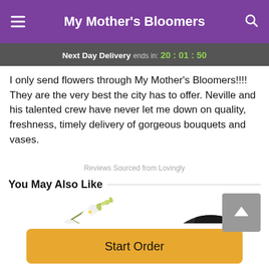My Mother's Bloomers
Next Day Delivery ends in: 20 : 01 : 50
I only send flowers through My Mother's Bloomers!!!! They are the very best the city has to offer. Neville and his talented crew have never let me down on quality, freshness, timely delivery of gorgeous bouquets and vases.
Reviews Sourced from Lovingly
You May Also Like
[Figure (photo): White orchid branch with green buds on white background]
[Figure (photo): Circular cropped portrait photo of person wearing dark clothing]